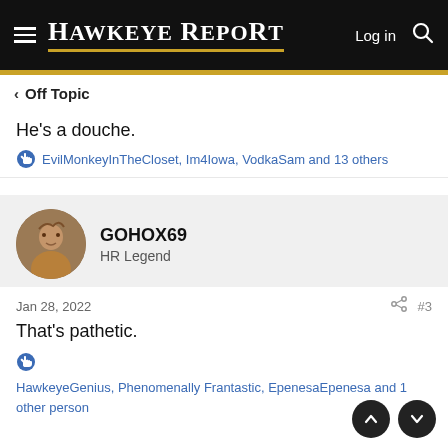Hawkeye Report — Log in
< Off Topic
He's a douche.
EvilMonkeyInTheCloset, Im4Iowa, VodkaSam and 13 others
GOHOX69
HR Legend
Jan 28, 2022   #3
That's pathetic.
HawkeyeGenius, Phenomenally Frantastic, EpenesaEpenesa and 1 other person